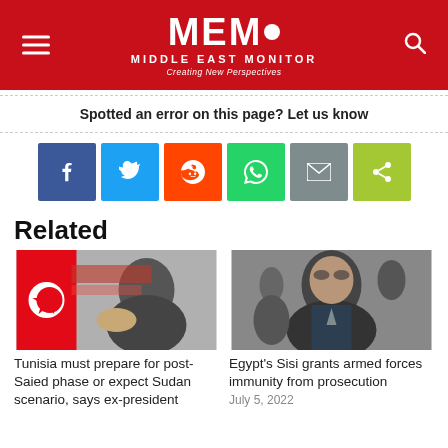MEMO Middle East Monitor — Creating New Perspectives
Spotted an error on this page? Let us know
[Figure (infographic): Social share buttons: Facebook, Twitter, Reddit, WhatsApp, Email, Share]
Related
[Figure (photo): Photo of Tunisian ex-president gesturing, with Tunisian flag in background]
Tunisia must prepare for post-Saied phase or expect Sudan scenario, says ex-president
[Figure (photo): Photo of Egypt's President Sisi]
Egypt's Sisi grants armed forces immunity from prosecution
July 5, 2022